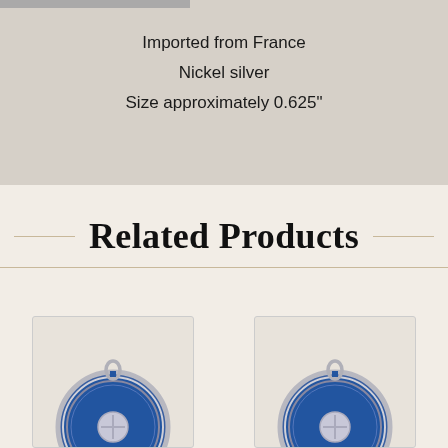Imported from France
Nickel silver
Size approximately 0.625"
Related Products
[Figure (photo): Two blue enamel medals/medallions with silver borders, partially visible at bottom of page]